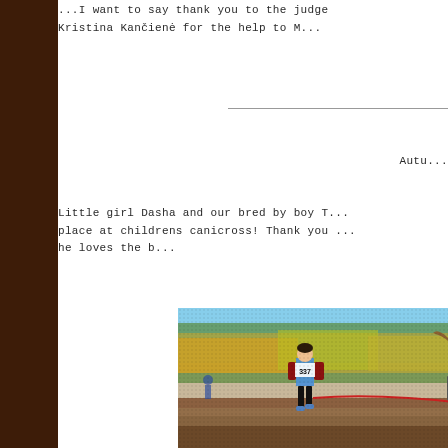...I want to say thank you to the judge Kristina Kančienė for the help to M...
Autu...
Little girl Dasha and our bred by boy T... place at childrens canicross! Thank you ... he loves the b...
[Figure (photo): A young girl wearing race bib number 337 running in a children's canicross event, with another runner visible behind her and a black and white dog on a leash to the right, set against a background of autumn-colored trees and a dirt track.]